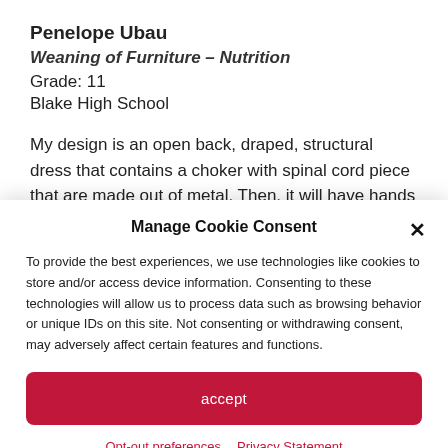Penelope Ubau
Weaning of Furniture – Nutrition
Grade: 11
Blake High School
My design is an open back, draped, structural dress that contains a choker with spinal cord piece that are made out of metal. Then, it will have hands pulling at the dress.
Manage Cookie Consent
To provide the best experiences, we use technologies like cookies to store and/or access device information. Consenting to these technologies will allow us to process data such as browsing behavior or unique IDs on this site. Not consenting or withdrawing consent, may adversely affect certain features and functions.
accept
Opt-out preferences   Privacy Statement